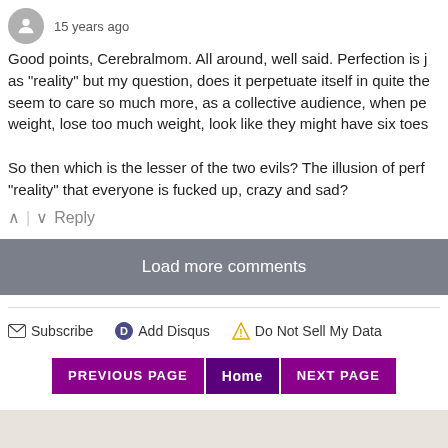15 years ago
Good points, Cerebralmom. All around, well said. Perfection is j... as "reality" but my question, does it perpetuate itself in quite the... seem to care so much more, as a collective audience, when pe... weight, lose too much weight, look like they might have six toes...
So then which is the lesser of the two evils? The illusion of perf... "reality" that everyone is fucked up, crazy and sad?
Reply
Load more comments
Subscribe
Add Disqus
Do Not Sell My Data
PREVIOUS PAGE
Home
NEXT PAGE
Subscribe